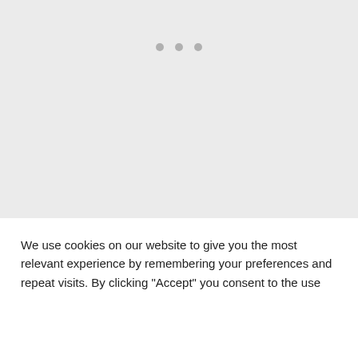[Figure (other): Three grey dots (loading indicator) centered in the top grey area]
Convert 2100 cubic centimeters to quarts
Solution
First, enter the volume in cubic centimeters (2100) in the blank
We use cookies on our website to give you the most relevant experience by remembering your preferences and repeat visits. By clicking "Accept" you consent to the use